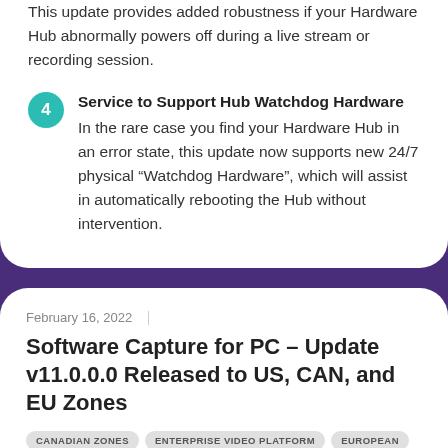This update provides added robustness if your Hardware Hub abnormally powers off during a live stream or recording session.
4. Service to Support Hub Watchdog Hardware
In the rare case you find your Hardware Hub in an error state, this update now supports new 24/7 physical “Watchdog Hardware”, which will assist in automatically rebooting the Hub without intervention.
February 16, 2022
Software Capture for PC – Update v11.0.0.0 Released to US, CAN, and EU Zones
CANADIAN ZONES   ENTERPRISE VIDEO PLATFORM   EUROPEAN UNION ZONES   SOFTWARE CAPTURE FOR PC   SOFTWARE